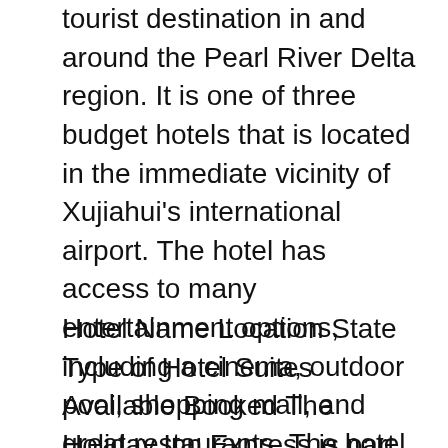tourist destination in and around the Pearl River Delta region. It is one of three budget hotels that is located in the immediate vicinity of Xujiahui's international airport. The hotel has access to many entertainment options, including a cinema, outdoor pool, shopping mall, and great restaurants. The hotel offers free internet access, free parking, car rental, and access to the major media related to Chinese culture.
Hotel Name Location State Type of Hotel Suites Available Booked The Holiday Inn Express is part of a great sign of modern China. It is located in Xujiahui, a popular tourist destination in and around the Pearl River Delta region. It is one of three budget hotels that is located in the immediate